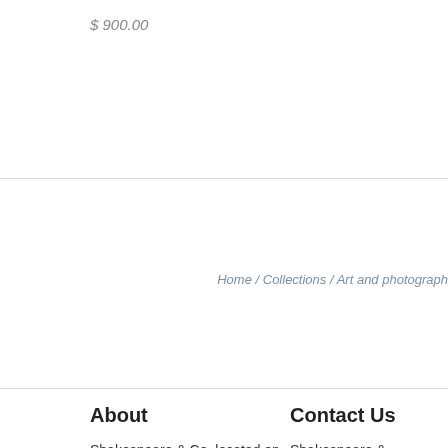$ 900.00
Home / Collections / Art and photograph
About
Shakespeare & Co, located on Telegraph Ave, is an independent used and antiquarian bookstore with ties to the community since 1964.
Our handpicked staff is dedicated to assisting you find the right book whether you are searching for just one book, interested in building a collection or simply
Contact Us
Shakespeare & 2499 Telegraph Berkeley CA. 94
Email: info@sha Phone: (510) 841